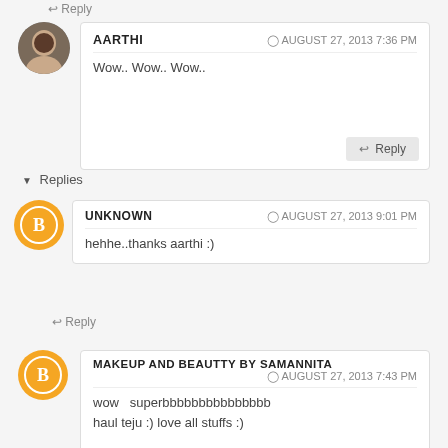↩ Reply
AARTHI — AUGUST 27, 2013 7:36 PM
Wow.. Wow.. Wow..
↩ Reply
▼ Replies
UNKNOWN — AUGUST 27, 2013 9:01 PM
hehhe..thanks aarthi :)
↩ Reply
MAKEUP AND BEAUTTY BY SAMANNITA — AUGUST 27, 2013 7:43 PM
wow   superbbbbbbbbbbbbbbb
haul teju :) love all stuffs :)
↩ Reply